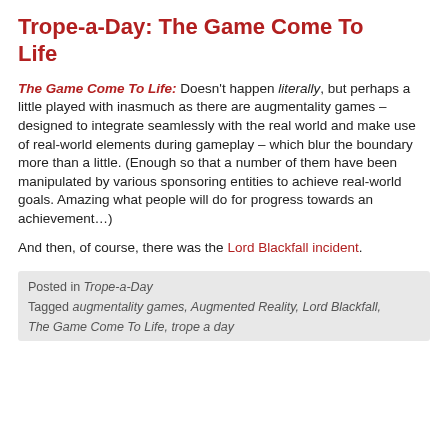Trope-a-Day: The Game Come To Life
The Game Come To Life: Doesn't happen literally, but perhaps a little played with inasmuch as there are augmentality games – designed to integrate seamlessly with the real world and make use of real-world elements during gameplay – which blur the boundary more than a little. (Enough so that a number of them have been manipulated by various sponsoring entities to achieve real-world goals. Amazing what people will do for progress towards an achievement…)
And then, of course, there was the Lord Blackfall incident.
Posted in Trope-a-Day
Tagged augmentality games, Augmented Reality, Lord Blackfall, The Game Come To Life, trope a day